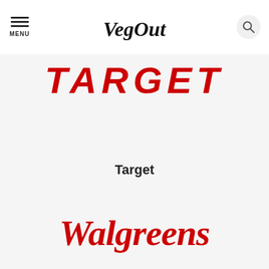VegOut — navigation header with menu and search
[Figure (logo): TARGET logo in large bold red italic uppercase letters]
Target
[Figure (logo): Walgreens script logo in red cursive lettering]